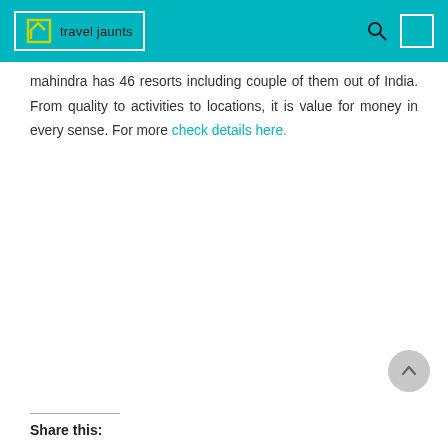travel jaunts
mahindra has 46 resorts including couple of them out of India. From quality to activities to locations, it is value for money in every sense. For more check details here.
Share this: